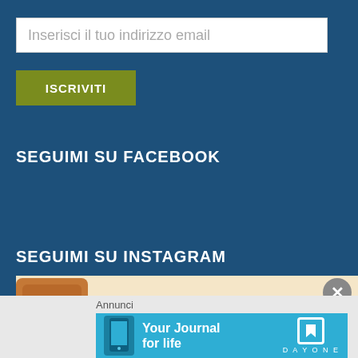Inserisci il tuo indirizzo email
ISCRIVITI
SEGUIMI SU FACEBOOK
SEGUIMI SU INSTAGRAM
[Figure (illustration): Instagram follow me banner with Instagram camera icon and text 'Follow me on Instagram' in cursive on a cream/peach background]
Annunci
[Figure (screenshot): Day One app advertisement: 'Your Journal for life' on a blue background with phone image and Day One logo]